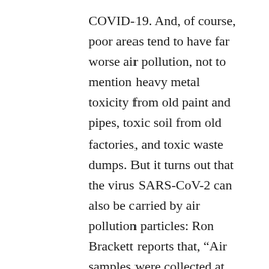COVID-19. And, of course, poor areas tend to have far worse air pollution, not to mention heavy metal toxicity from old paint and pipes, toxic soil from old factories, and toxic waste dumps. But it turns out that the virus SARS-CoV-2 can also be carried by air pollution particles: Ron Brackett reports that, “Air samples were collected at two sites in Bergamo province in northern Italy’s Lombardy region, the area of the country hit hardest by the pandemic. Testing found a gene highly specific to COVID-19 in multiple samples from the province, one of the most polluted in